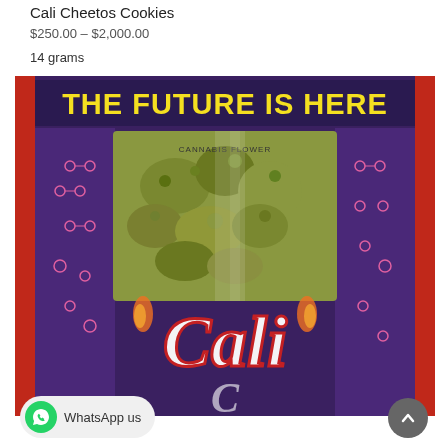Cali Cheetos Cookies
$250.00 – $2,000.00
14 grams
[Figure (photo): A purple Cali branded cannabis flower bag with the text 'THE FUTURE IS HERE' in yellow on top. The clear window shows cannabis buds inside. The bag has the Cali logo in red and white script. Background is red.]
WhatsApp us